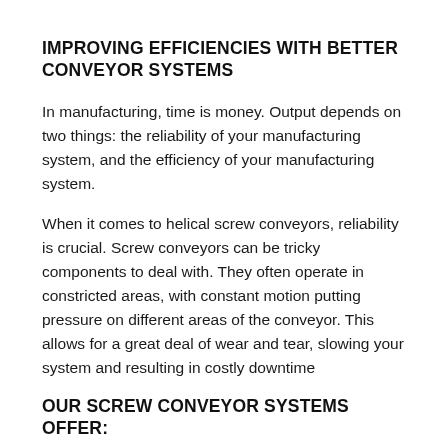IMPROVING EFFICIENCIES WITH BETTER CONVEYOR SYSTEMS
In manufacturing, time is money. Output depends on two things: the reliability of your manufacturing system, and the efficiency of your manufacturing system.
When it comes to helical screw conveyors, reliability is crucial. Screw conveyors can be tricky components to deal with. They often operate in constricted areas, with constant motion putting pressure on different areas of the conveyor. This allows for a great deal of wear and tear, slowing your system and resulting in costly downtime
OUR SCREW CONVEYOR SYSTEMS OFFER: